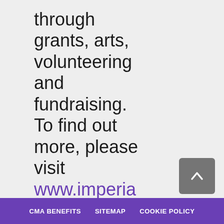through grants, arts, volunteering and fundraising. To find out more, please visit www.imperialcharity.org.uk
CMA BENEFITS   SITEMAP   COOKIE POLICY